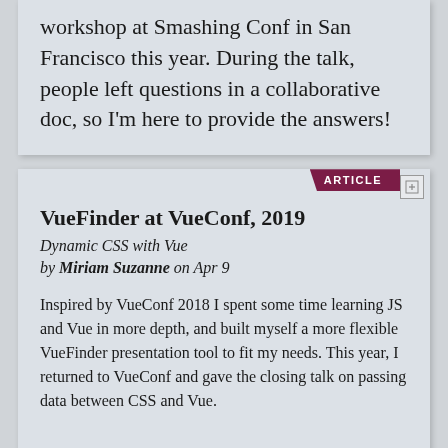workshop at Smashing Conf in San Francisco this year. During the talk, people left questions in a collaborative doc, so I'm here to provide the answers!
VueFinder at VueConf, 2019
Dynamic CSS with Vue
by Miriam Suzanne on Apr 9
Inspired by VueConf 2018 I spent some time learning JS and Vue in more depth, and built myself a more flexible VueFinder presentation tool to fit my needs. This year, I returned to VueConf and gave the closing talk on passing data between CSS and Vue.